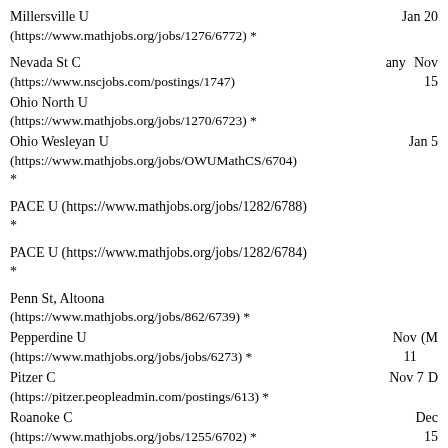Millersville U (https://www.mathjobs.org/jobs/1276/6772) *  Jan 20
Nevada St C (https://www.nscjobs.com/postings/1747)  any  Nov 15
Ohio North U (https://www.mathjobs.org/jobs/1270/6723) *
Ohio Wesleyan U (https://www.mathjobs.org/jobs/OWUMathCS/6704) *  Jan 5
PACE U (https://www.mathjobs.org/jobs/1282/6788) *
PACE U (https://www.mathjobs.org/jobs/1282/6784) *
Penn St, Altoona (https://www.mathjobs.org/jobs/862/6739) *
Pepperdine U (https://www.mathjobs.org/jobs/jobs/6273) *  Nov 11  (M
Pitzer C (https://pitzer.peopleadmin.com/postings/613) *  Nov 7  D
Roanoke C (https://www.mathjobs.org/jobs/1255/6702) *  Dec 15
Rochester Tech (https://www.mathjobs.org/jobs/1107/6776) *